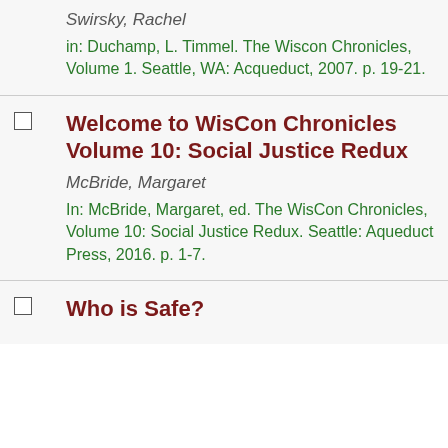Swirsky, Rachel
in: Duchamp, L. Timmel. The Wiscon Chronicles, Volume 1. Seattle, WA: Acqueduct, 2007. p. 19-21.
Welcome to WisCon Chronicles Volume 10: Social Justice Redux
McBride, Margaret
In: McBride, Margaret, ed. The WisCon Chronicles, Volume 10: Social Justice Redux. Seattle: Aqueduct Press, 2016. p. 1-7.
Who is Safe?